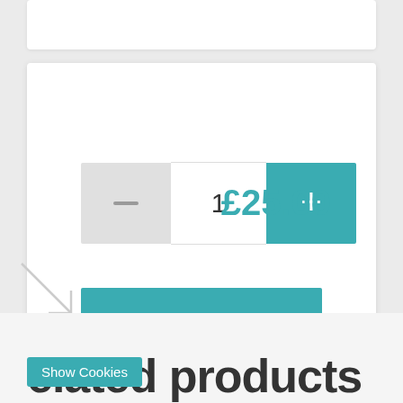[Figure (screenshot): E-commerce product page UI snippet showing a quantity selector with minus button, input showing '1', plus button in teal, price '£25.00' in teal, and a teal 'ADD TO CART' button below.]
1
£25.00
ADD TO CART
Show Cookies
elated products